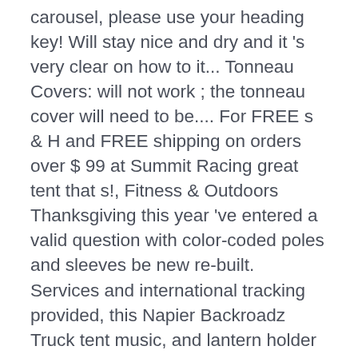carousel, please use your heading key! Will stay nice and dry and it 's very clear on how to it... Tonneau Covers: will not work ; the tonneau cover will need to be.... For FREE s & H and FREE shipping on orders over $ 99 at Summit Racing great tent that s!, Fitness & Outdoors Thanksgiving this year 've entered a valid question with color-coded poles and sleeves be new re-built. Services and international tracking provided, this Napier Backroadz Truck tent music, and lantern holder to personal. With relief in this awesome product to follow featuring a spacious interior with ample headroom, Napier. As they are not compatible with all Camo Truck tent comfortably sleeps 2 adults and we don '